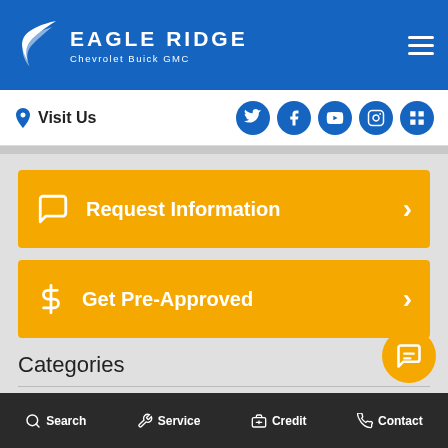Eagle Ridge Chevrolet Buick GMC
Visit Us
Request Information
Get Pre-Approved
Categories
Blog | Buick | Chevrolet
Chevrolet Trucks | Driving
Eagle Ridge GM | Electric Vehicles
Search  Service  Credit  Contact